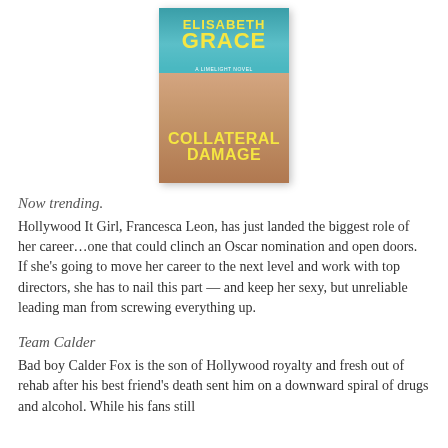[Figure (illustration): Book cover of 'Collateral Damage' by Elisabeth Grace. Teal/turquoise background with two people embracing. Author name in yellow bold text at top: ELISABETH GRACE. Subtitle: A LIMELIGHT NOVEL. Title in large yellow bold text at bottom: COLLATERAL DAMAGE.]
Now trending.
Hollywood It Girl, Francesca Leon, has just landed the biggest role of her career…one that could clinch an Oscar nomination and open doors. If she's going to move her career to the next level and work with top directors, she has to nail this part — and keep her sexy, but unreliable leading man from screwing everything up.
Team Calder
Bad boy Calder Fox is the son of Hollywood royalty and fresh out of rehab after his best friend's death sent him on a downward spiral of drugs and alcohol. While his fans still